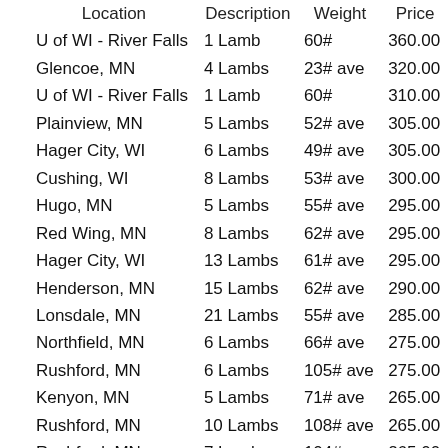| Location | Description | Weight | Price |
| --- | --- | --- | --- |
| U of WI - River Falls | 1 Lamb | 60# | 360.00 |
| Glencoe, MN | 4 Lambs | 23# ave | 320.00 |
| U of WI - River Falls | 1 Lamb | 60# | 310.00 |
| Plainview, MN | 5 Lambs | 52# ave | 305.00 |
| Hager City, WI | 6 Lambs | 49# ave | 305.00 |
| Cushing, WI | 8 Lambs | 53# ave | 300.00 |
| Hugo, MN | 5 Lambs | 55# ave | 295.00 |
| Red Wing, MN | 8 Lambs | 62# ave | 295.00 |
| Hager City, WI | 13 Lambs | 61# ave | 295.00 |
| Henderson, MN | 15 Lambs | 62# ave | 290.00 |
| Lonsdale, MN | 21 Lambs | 55# ave | 285.00 |
| Northfield, MN | 6 Lambs | 66# ave | 275.00 |
| Rushford, MN | 6 Lambs | 105# ave | 275.00 |
| Kenyon, MN | 5 Lambs | 71# ave | 265.00 |
| Rushford, MN | 10 Lambs | 108# ave | 265.00 |
| Rushford, MN | 7 Lambs | 104# ave | 265.00 |
| Alden, MN | 4 Lambs | 76# ave | 260.00 |
| Holmen, WI | 21 Lambs | 72# ave | 260.00 |
| River Falls, WI | 19 Lambs | 75# ave | 260.00 |
| Lonsdale, MN | 11 Lambs | 70# ave | 255.00 |
| Holmen, WI | 12 Lambs | 88# ave | 245.00 |
| Altura, MN | 5 Lambs | 139# ave | 200.00 |